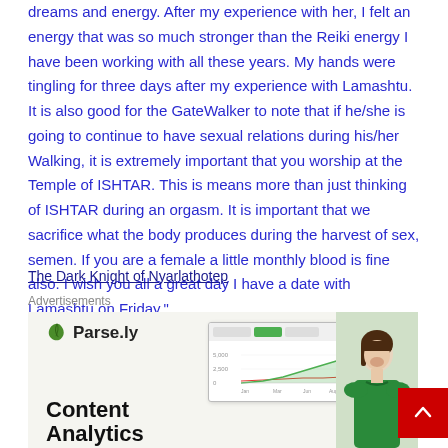dreams and energy. After my experience with her, I felt an energy that was so much stronger than the Reiki energy I have been working with all these years. My hands were tingling for three days after my experience with Lamashtu. It is also good for the GateWalker to note that if he/she is going to continue to have sexual relations during his/her Walking, it is extremely important that you worship at the Temple of ISHTAR. This is means more than just thinking of ISHTAR during an orgasm. It is important that we sacrifice what the body produces during the harvest of sex, semen. If you are a female a little monthly blood is fine also. I wish you all a great day I have a date with Lamashtu on Friday."
The Dark Knight of Nyarlathotep
Advertisements
[Figure (illustration): Parse.ly advertisement with logo, analytics dashboard screenshot, person in green sweater, and 'Content Analytics' text]